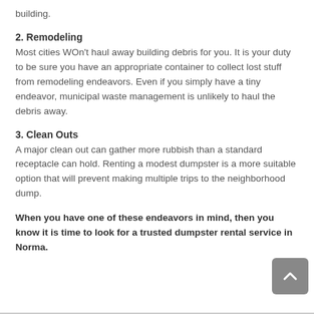building.
2. Remodeling
Most cities WOn't haul away building debris for you. It is your duty to be sure you have an appropriate container to collect lost stuff from remodeling endeavors. Even if you simply have a tiny endeavor, municipal waste management is unlikely to haul the debris away.
3. Clean Outs
A major clean out can gather more rubbish than a standard receptacle can hold. Renting a modest dumpster is a more suitable option that will prevent making multiple trips to the neighborhood dump.
When you have one of these endeavors in mind, then you know it is time to look for a trusted dumpster rental service in Norma.